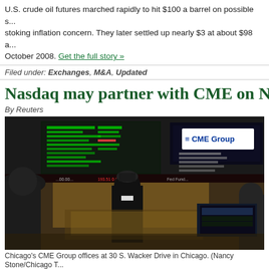U.S. crude oil futures marched rapidly to hit $100 a barrel on possible s... stoking inflation concern. They later settled up nearly $3 at about $98 a... October 2008. Get the full story »
Filed under: Exchanges, M&A, Updated
Nasdaq may partner with CME on NYSE
By Reuters
[Figure (photo): Interior view of Chicago's CME Group offices at 30 S. Wacker Drive, showing trading floor with electronic displays including a CME Group sign, people walking in foreground]
Chicago's CME Group offices at 30 S. Wacker Drive in Chicago. (Nancy Stone/Chicago T...
Nasdaq OMX Group could launch a rival bid for NYSE Euronext to avo... a source said, as traditional exchanges race to merge to see off upstar...